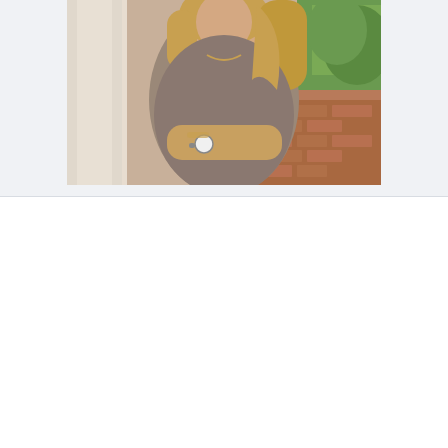[Figure (photo): Professional photo of a woman with blonde hair, arms crossed, wearing a sleeveless grey/brown textured top and a watch with bracelets. Outdoor background with brick and greenery.]
40th Anniversary
Family Insurance